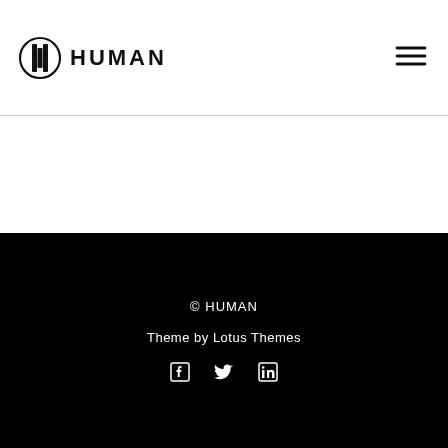HUMAN
© HUMAN
Theme by Lotus Themes